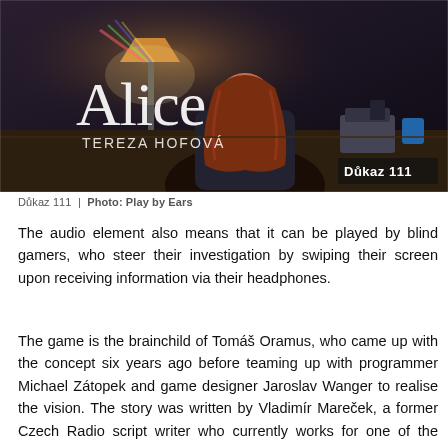[Figure (photo): A dark atmospheric illustration/photo showing a woman with long reddish-brown hair sitting at a desk viewed from behind, with a glowing lamp, telephone and blue cup visible. Text overlay reads 'Alice' in large white letters and 'TEREZA HOFOVÁ' below it. Bottom-right corner has 'Důkaz 111' in white text on dark background.]
Důkaz 111  |  Photo: Play by Ears
The audio element also means that it can be played by blind gamers, who steer their investigation by swiping their screen upon receiving information via their headphones.
The game is the brainchild of Tomáš Oramus, who came up with the concept six years ago before teaming up with programmer Michael Zátopek and game designer Jaroslav Wanger to realise the vision. The story was written by Vladimír Mareček, a former Czech Radio script writer who currently works for one of the country's most